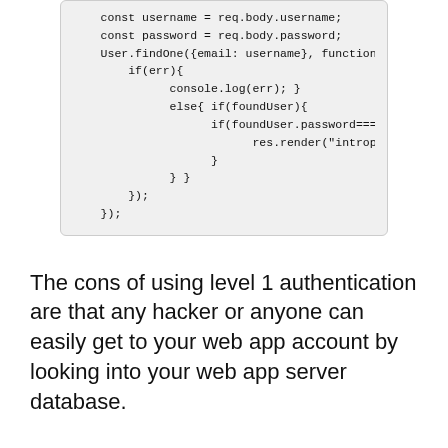[Figure (screenshot): Code block showing Node.js authentication route with User.findOne, password check, and res.render call]
The cons of using level 1 authentication are that any hacker or anyone can easily get to your web app account by looking into your web app server database.
So to improve on the above cons, just by small